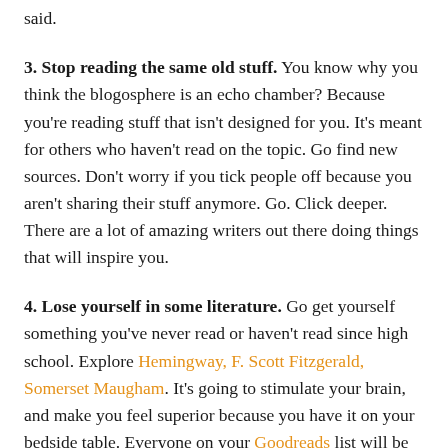tasks at hand. Not what's for dinner, or what he said/she said.
3. Stop reading the same old stuff. You know why you think the blogosphere is an echo chamber? Because you're reading stuff that isn't designed for you. It's meant for others who haven't read on the topic. Go find new sources. Don't worry if you tick people off because you aren't sharing their stuff anymore. Go. Click deeper. There are a lot of amazing writers out there doing things that will inspire you.
4. Lose yourself in some literature. Go get yourself something you've never read or haven't read since high school. Explore Hemingway, F. Scott Fitzgerald, Somerset Maugham. It's going to stimulate your brain, and make you feel superior because you have it on your bedside table. Everyone on your Goodreads list will be impressed. It's a long way from the...